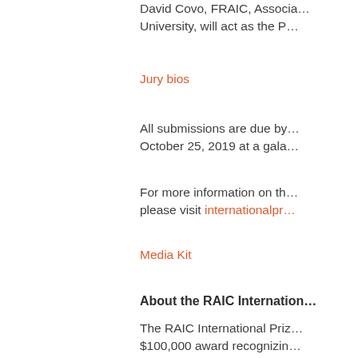David Covo, FRAIC, Associa… University, will act as the P…
Jury bios
All submissions are due by… October 25, 2019 at a gala…
For more information on th… please visit internationalpr…
Media Kit
About the RAIC Internation…
The RAIC International Priz… $100,000 award recognizin… and promotes justice, resp…
To connect with the RAIC I…